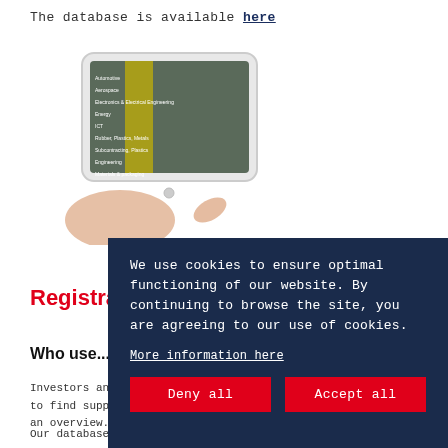The database is available here
[Figure (photo): A hand holding an iPad displaying a database/category menu interface with industrial imagery and yellow highlights]
Registra...
Who use...
Investors an... to find suppl... an overview
Our database is used by global companies such as BMW, Boeing
We use cookies to ensure optimal functioning of our website. By continuing to browse the site, you are agreeing to our use of cookies.
More information here
Deny all
Accept all